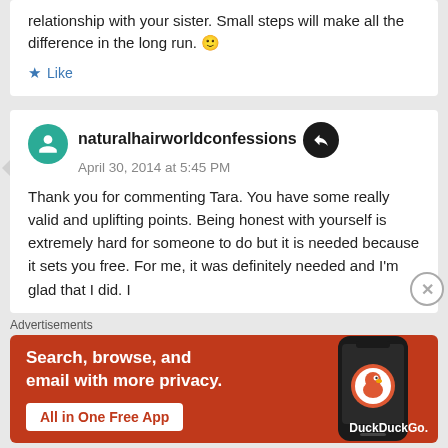relationship with your sister. Small steps will make all the difference in the long run. 🙂
Like
naturalhairworldconfessions
April 30, 2014 at 5:45 PM
Thank you for commenting Tara. You have some really valid and uplifting points. Being honest with yourself is extremely hard for someone to do but it is needed because it sets you free. For me, it was definitely needed and I'm glad that I did. I
Advertisements
[Figure (infographic): DuckDuckGo advertisement banner with orange background. Text: 'Search, browse, and email with more privacy.' Button: 'All in One Free App'. Right side shows a smartphone with DuckDuckGo logo and 'DuckDuckGo.' label.]